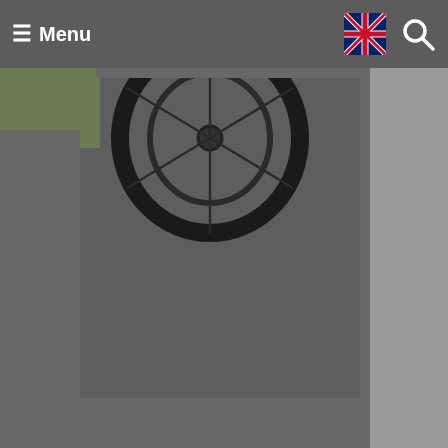☰ Menu
[Figure (photo): Close-up photo of a bicycle wheel on a dark asphalt path, with green foliage visible in the top-left corner. The image occupies the left portion of the screen with a grey/dark background on the right.]
Once again we are inspired by the selflessness of the
We use cookies
We use cookies and other tracking technologies to improve your browsing experience on our website, to show you personalized content and targeted ads, to analyze our website traffic, and